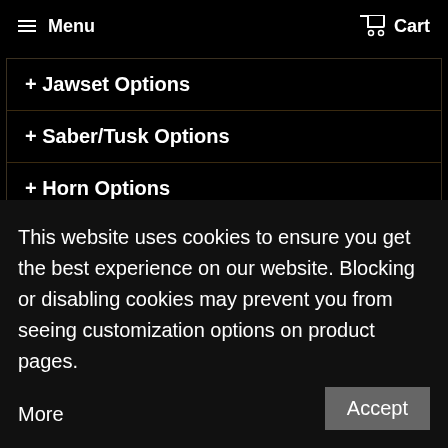Menu   Cart
+ Jawset Options
+ Saber/Tusk Options
+ Horn Options
+ Additional Options
Quantity
1
This website uses cookies to ensure you get the best experience on our website. Blocking or disabling cookies may prevent you from seeing customization options on product pages.    More
Accept